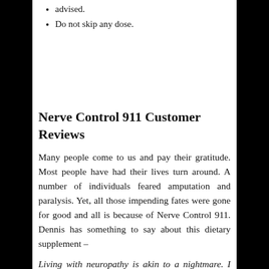advised.
Do not skip any dose.
Nerve Control 911 Customer Reviews
Many people come to us and pay their gratitude. Most people have had their lives turn around. A number of individuals feared amputation and paralysis. Yet, all those impending fates were gone for good and all is because of Nerve Control 911. Dennis has something to say about this dietary supplement –
Living with neuropathy is akin to a nightmare. I used to be in so a good deal ache all the time that